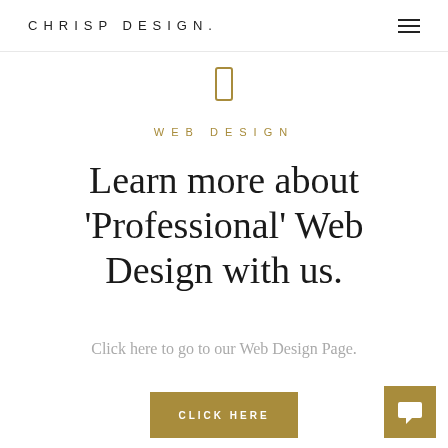CHRISP DESIGN.
[Figure (illustration): Small gold rectangular outline icon, resembling a phone or device icon]
WEB DESIGN
Learn more about 'Professional' Web Design with us.
Click here to go to our Web Design Page.
[Figure (other): Gold 'CLICK HERE' button]
[Figure (other): Gold chat/message icon button in bottom right corner]